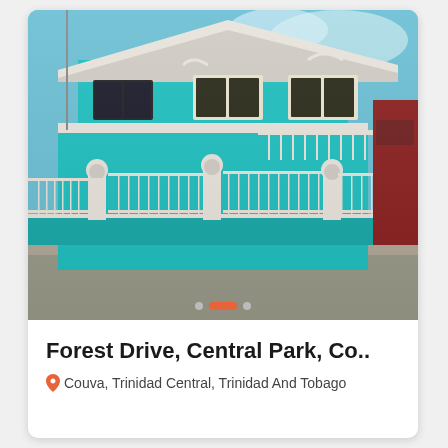[Figure (photo): Exterior photo of a two-storey teal/turquoise house with white decorative trim, white wrought-iron fence with pillar posts, visible blue sky background. Located at Forest Drive, Central Park, Couva, Trinidad and Tobago.]
Forest Drive, Central Park, Co..
Couva, Trinidad Central, Trinidad And Tobago